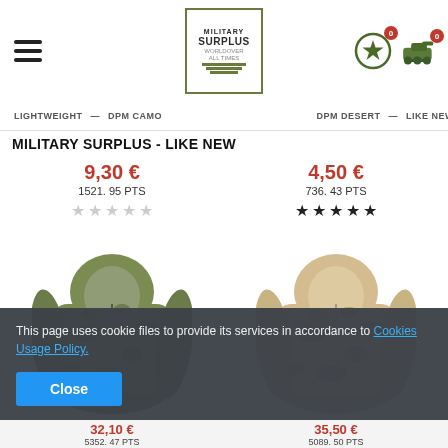Military Surplus - header with logo, hamburger menu, star icon and tank icon with badges 0
LIGHTWEIGHT — DPM CAMO — DPM DESERT — LIKE NEW
MILITARY SURPLUS - LIKE NEW
9,30 €
1521. 95 PTS
4,50 €
736. 43 PTS
[Figure (other): Empty star rating (5 empty stars)]
[Figure (other): Filled star rating (5 filled stars)]
[Figure (photo): Green camouflage hooded military jacket (MTP camo pattern)]
[Figure (photo): Desert camouflage hooded military jacket (DPM desert pattern)]
This page uses cookie files to provide its services in accordance to Cookies Usage Policy.
Close
32,10 €
5352.47 PTS
35,50 €
5089.50 PTS